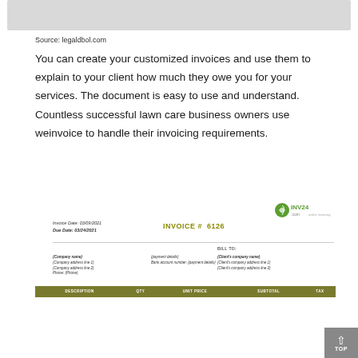[Figure (screenshot): Gray top bar screenshot artifact]
Source: legaldbol.com
You can create your customized invoices and use them to explain to your client how much they owe you for your services. The document is easy to use and understand. Countless successful lawn care business owners use weinvoice to handle their invoicing requirements.
[Figure (screenshot): Invoice preview showing INV24.com logo, Invoice Date 03/09/2021, Due Date 03/24/2021, INVOICE # 6126, company fields, payment details, client company info, and table header with DESCRIPTION, QTY, UNIT PRICE, SUBTOTAL, TAX columns]
| DESCRIPTION | QTY | UNIT PRICE | SUBTOTAL | TAX |
| --- | --- | --- | --- | --- |